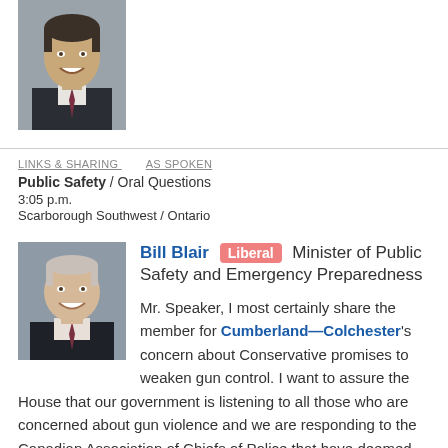[Figure (photo): Portrait photo of a man in a suit, smiling, dark background]
LINKS & SHARING   AS SPOKEN
Public Safety / Oral Questions
3:05 p.m.
Scarborough Southwest / Ontario
[Figure (photo): Portrait photo of Bill Blair, older man in suit, smiling]
Bill Blair [Liberal] Minister of Public Safety and Emergency Preparedness
Mr. Speaker, I most certainly share the member for Cumberland—Colchester's concern about Conservative promises to weaken gun control. I want to assure the House that our government is listening to all those who are concerned about gun violence and we are responding to the Canadian Association of Chiefs of Police that have deemed Bill C-71 essential to public safety.